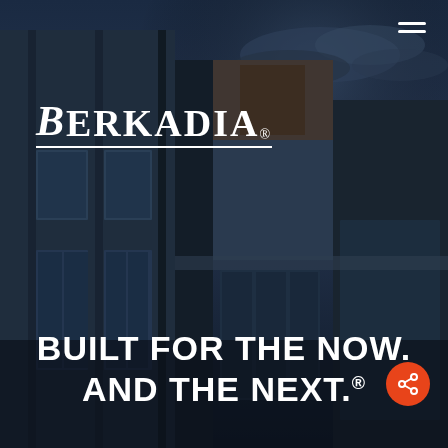[Figure (photo): Dark moody photograph of a modern commercial building facade with large windows and geometric panels against a stormy sky]
[Figure (logo): Berkadia logo in white serif uppercase letters with underline and registered trademark symbol]
BUILT FOR THE NOW. AND THE NEXT.®